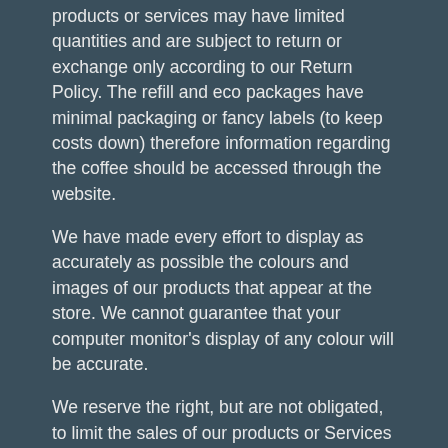products or services may have limited quantities and are subject to return or exchange only according to our Return Policy. The refill and eco packages have minimal packaging or fancy labels (to keep costs down) therefore information regarding the coffee should be accessed through the website.
We have made every effort to display as accurately as possible the colours and images of our products that appear at the store. We cannot guarantee that your computer monitor's display of any colour will be accurate.
We reserve the right, but are not obligated, to limit the sales of our products or Services to any person, geographic region or jurisdiction. We may exercise this right on a case-by-case basis. We reserve the right to limit the quantities of any products or services that we offer. All descriptions of products or product pricing are subject to change at anytime without notice, at the sole discretion of us. We reserve the right to discontinue any product at any time. Any offer for any product or service made on